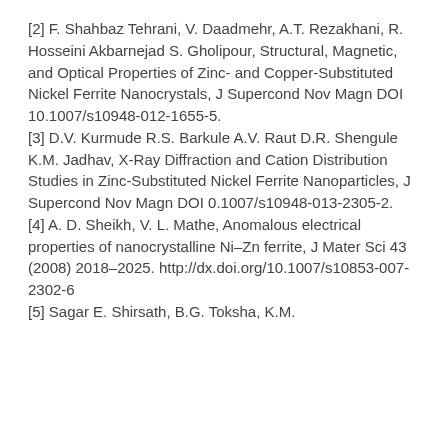[2] F. Shahbaz Tehrani, V. Daadmehr, A.T. Rezakhani, R. Hosseini Akbarnejad S. Gholipour, Structural, Magnetic, and Optical Properties of Zinc- and Copper-Substituted Nickel Ferrite Nanocrystals, J Supercond Nov Magn DOI 10.1007/s10948-012-1655-5.
[3] D.V. Kurmude R.S. Barkule A.V. Raut D.R. Shengule K.M. Jadhav, X-Ray Diffraction and Cation Distribution Studies in Zinc-Substituted Nickel Ferrite Nanoparticles, J Supercond Nov Magn DOI 0.1007/s10948-013-2305-2.
[4] A. D. Sheikh, V. L. Mathe, Anomalous electrical properties of nanocrystalline Ni–Zn ferrite, J Mater Sci 43 (2008) 2018–2025. http://dx.doi.org/10.1007/s10853-007-2302-6
[5] Sagar E. Shirsath, B.G. Toksha, K.M.